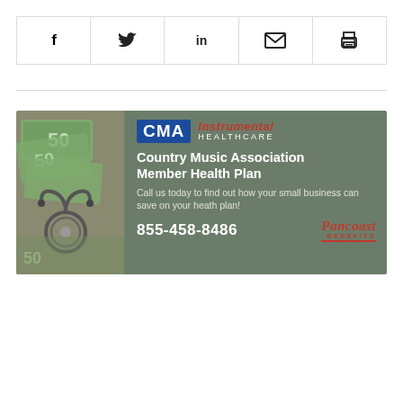[Figure (other): Social share bar with icons: Facebook (f), Twitter bird, LinkedIn (in), email envelope, print/printer]
[Figure (infographic): CMA Instrumental Healthcare advertisement for Country Music Association Member Health Plan by Pancoast Benefits. Phone: 855-458-8486. Left side shows photo of $50 bills and stethoscope. Right side has olive/sage green background with CMA logo, Instrumental Healthcare text, ad copy: Call us today to find out how your small business can save on your heath plan!]